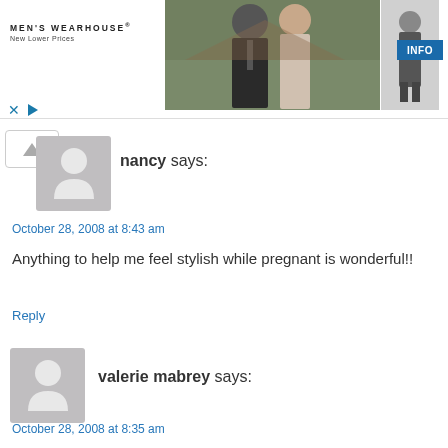[Figure (other): Men's Wearhouse advertisement banner showing a couple in formal wear and a child in a suit, with an INFO button]
nancy says:
October 28, 2008 at 8:43 am
Anything to help me feel stylish while pregnant is wonderful!!
Reply
valerie mabrey says:
October 28, 2008 at 8:35 am